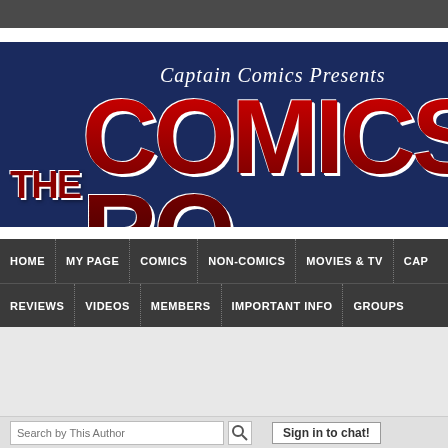[Figure (screenshot): Captain Comics Presents The Comics Round Table website header banner with dark blue background, large red text logo]
Captain Comics Presents THE COMICS RO...
HOME | MY PAGE | COMICS | NON-COMICS | MOVIES & TV | CAR... | REVIEWS | VIDEOS | MEMBERS | IMPORTANT INFO | GROUPS
All Discussions   My Discussions
suedenim's Discussions (56)
Search by This Author
Sign in to chat!